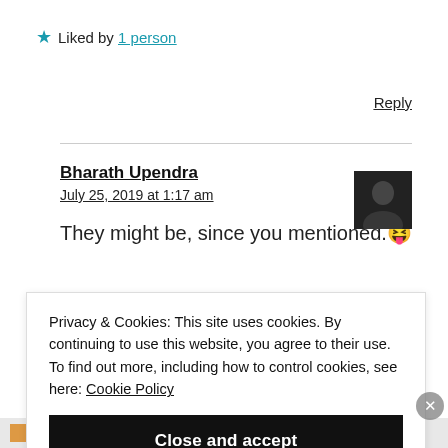★ Liked by 1 person
Reply
Bharath Upendra
July 25, 2019 at 1:17 am
[Figure (photo): Small avatar/profile photo of commenter Bharath Upendra, dark toned image]
They might be, since you mentioned. 😜
Privacy & Cookies: This site uses cookies. By continuing to use this website, you agree to their use. To find out more, including how to control cookies, see here: Cookie Policy
Close and accept